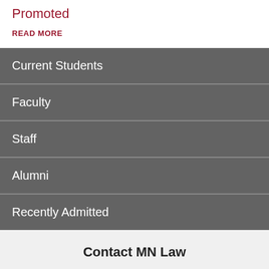Promoted
READ MORE
Current Students
Faculty
Staff
Alumni
Recently Admitted
Contact MN Law